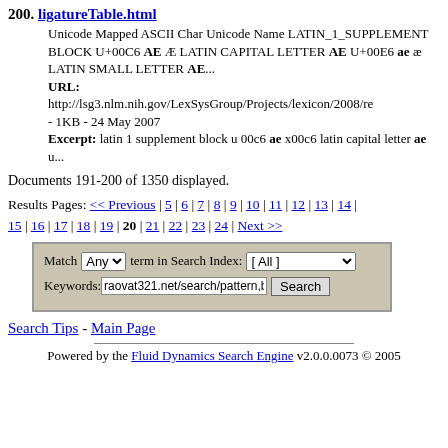200. ligatureTable.html
Unicode Mapped ASCII Char Unicode Name LATIN_1_SUPPLEMENT BLOCK U+00C6 AE Æ LATIN CAPITAL LETTER AE U+00E6 ae æ LATIN SMALL LETTER AE...
URL: http://lsg3.nlm.nih.gov/LexSysGroup/Projects/lexicon/2008/re - 1KB - 24 May 2007
Excerpt: latin 1 supplement block u 00c6 ae x00c6 latin capital letter ae u...
Documents 191-200 of 1350 displayed.
Results Pages: << Previous | 5 | 6 | 7 | 8 | 9 | 10 | 11 | 12 | 13 | 14 | 15 | 16 | 17 | 18 | 19 | 20 | 21 | 22 | 23 | 24 | Next >>
[Figure (other): Search form with Match dropdown, Search Index dropdown, Keywords text field and Search button]
Search Tips - Main Page
Powered by the Fluid Dynamics Search Engine v2.0.0.0073 © 2005